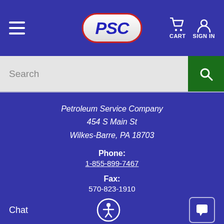[Figure (logo): PSC (Petroleum Service Company) logo - oval shaped with red border, white background, blue italic bold PSC text]
CART  SIGN IN
Search
Petroleum Service Company
454 S Main St
Wilkes-Barre, PA 18703
Phone:
1-855-899-7467
Fax:
570-823-1910
E-mail:
Chat